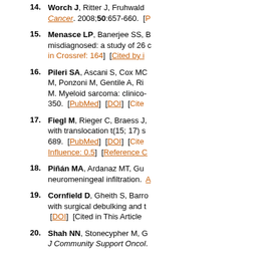14. Worch J, Ritter J, Fruhwald... Cancer. 2008;50:657-660. [...]
15. Menasce LP, Banerjee SS, B... misdiagnosed: a study of 26 c... in Crossref: 164] [Cited by i...]
16. Pileri SA, Ascani S, Cox MC... M, Ponzoni M, Gentile A, Ri... M. Myeloid sarcoma: clinico-... 350. [PubMed] [DOI] [Cite...]
17. Fiegl M, Rieger C, Braess J,... with translocation t(15; 17) s... 689. [PubMed] [DOI] [Cite...] Influence: 0.5] [Reference C...]
18. Piñán MA, Ardanaz MT, Gu... neuromeningeal infiltration. A...
19. Cornfield D, Gheith S, Barro... with surgical debulking and t... [DOI] [Cited in This Article...]
20. Shah NN, Stonecypher M, G... J Community Support Oncol.